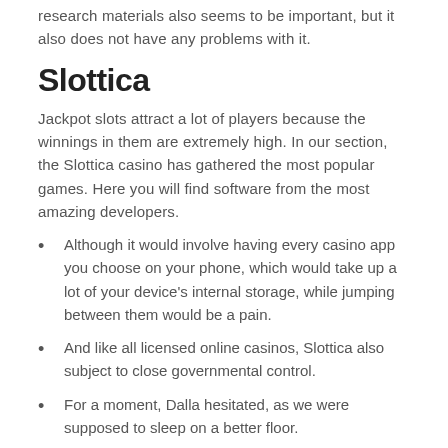research materials also seems to be important, but it also does not have any problems with it.
Slottica
Jackpot slots attract a lot of players because the winnings in them are extremely high. In our section, the Slottica casino has gathered the most popular games. Here you will find software from the most amazing developers.
Although it would involve having every casino app you choose on your phone, which would take up a lot of your device's internal storage, while jumping between them would be a pain.
And like all licensed online casinos, Slottica also subject to close governmental control.
For a moment, Dalla hesitated, as we were supposed to sleep on a better floor.
To enjoy live, you have to prepare yourself properly,